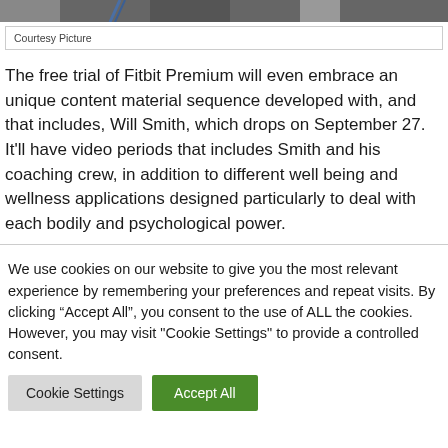[Figure (photo): Partial photo strip at top of page, showing a dark/grayscale image, likely a person or scene related to Fitbit or Will Smith content.]
Courtesy Picture
The free trial of Fitbit Premium will even embrace an unique content material sequence developed with, and that includes, Will Smith, which drops on September 27. It'll have video periods that includes Smith and his coaching crew, in addition to different well being and wellness applications designed particularly to deal with each bodily and psychological power.
We use cookies on our website to give you the most relevant experience by remembering your preferences and repeat visits. By clicking “Accept All”, you consent to the use of ALL the cookies. However, you may visit "Cookie Settings" to provide a controlled consent.